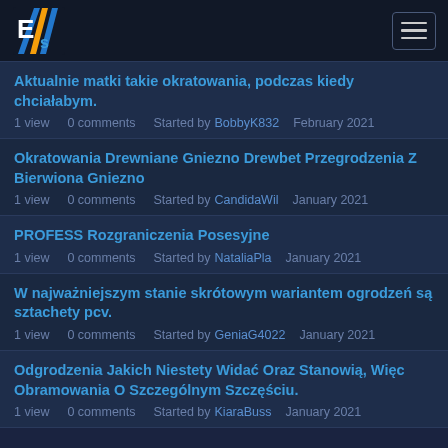EFS logo and navigation bar
Aktualnie matki takie okratowania, podczas kiedy chciałabym.
1 view   0 comments   Started by BobbyK832   February 2021
Okratowania Drewniane Gniezno Drewbet Przegrodzenia Z Bierwiona Gniezno
1 view   0 comments   Started by CandidaWil   January 2021
PROFESS Rozgraniczenia Posesyjne
1 view   0 comments   Started by NataliaPla   January 2021
W najważniejszym stanie skrótowym wariantem ogrodzeń są sztachety pcv.
1 view   0 comments   Started by GeniaG4022   January 2021
Odgrodzenia Jakich Niestety Widać Oraz Stanowią, Więc Obramowania O Szczególnym Szczęściu.
1 view   0 comments   Started by KiaraBuss   January 2021